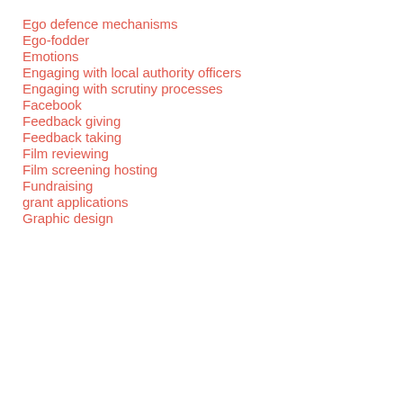Ego defence mechanisms
Ego-fodder
Emotions
Engaging with local authority officers
Engaging with scrutiny processes
Facebook
Feedback giving
Feedback taking
Film reviewing
Film screening hosting
Fundraising
grant applications
Graphic design